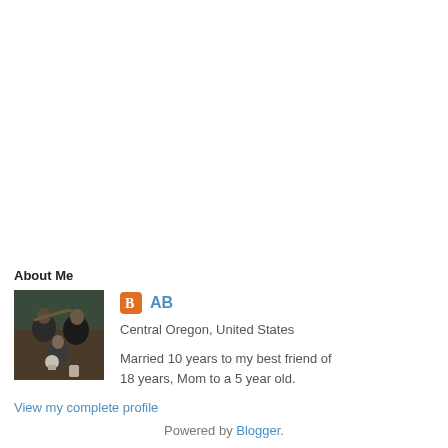About Me
[Figure (photo): Profile photo of a family group outdoors, two adults and a young child]
AB
Central Oregon, United States
Married 10 years to my best friend of 18 years, Mom to a 5 year old.
View my complete profile
Powered by Blogger.